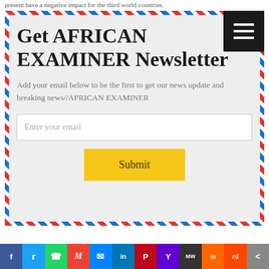present have a negative impact for the third world countries.
[Figure (infographic): Newsletter signup box with airmail-style diagonal stripe border (red, white, blue). Contains title 'Get AFRICAN EXAMINER Newsletter', description text, email input field, and Submit button. A black hamburger menu icon is in the top-right corner.]
Get AFRICAN EXAMINER Newsletter
Add your email below to be the first to get our news update and breaking news//AFRICAN EXAMINER
[Figure (infographic): Social media sharing bar with icons for Facebook, Twitter, WhatsApp, Gmail, Messenger, LinkedIn, Pinterest, Yahoo, MeWe, Mix, Reddit, Share]